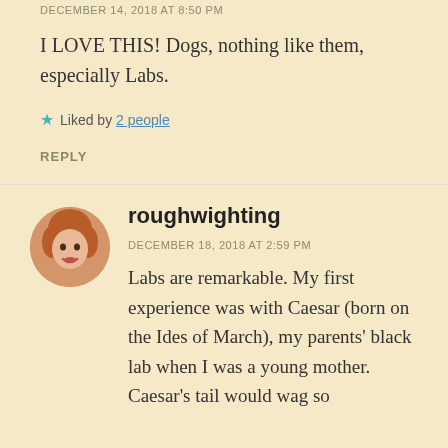DECEMBER 14, 2018 AT 8:50 PM
I LOVE THIS! Dogs, nothing like them, especially Labs.
Liked by 2 people
REPLY
roughwighting
DECEMBER 18, 2018 AT 2:59 PM
Labs are remarkable. My first experience was with Caesar (born on the Ides of March), my parents' black lab when I was a young mother. Caesar's tail would wag so